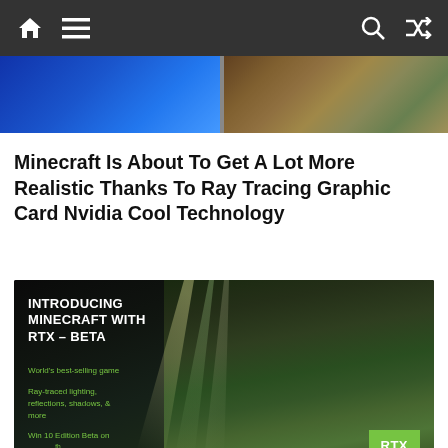Navigation bar with home, menu, search, and shuffle icons
[Figure (screenshot): Top image strip showing two Minecraft screenshots side by side: left is blue water/sky, right is sandy terrain with green patches]
Minecraft Is About To Get A Lot More Realistic Thanks To Ray Tracing Graphic Card Nvidia Cool Technology
[Figure (screenshot): NVIDIA RTX promotional banner for Minecraft with RTX Beta. Dark forest scene with light rays. Text: INTRODUCING MINECRAFT WITH RTX – BETA. World's best-selling game. Ray-traced lighting, reflections, shadows, & more. Win 10 Edition Beta on April 16th! RTX ON badge.]
[Figure (screenshot): Bottom strip showing Minecraft logo and fantasy creature characters on a light blue sky background]